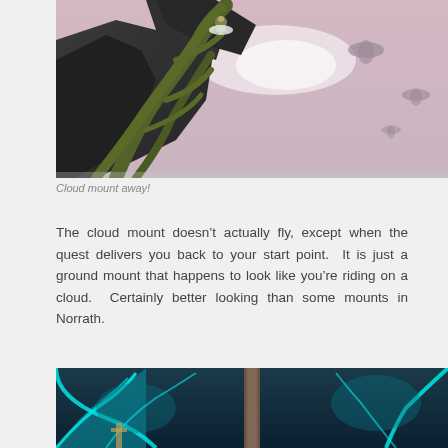[Figure (photo): A video game screenshot showing a character riding a cloud mount at the edge of a rocky cliff with twisted green vines, launching into a pinkish-purple sky with floating whale-like creatures in the background.]
Cloud mount away!
The cloud mount doesn’t actually fly, except when the quest delivers you back to your start point.  It is just a ground mount that happens to look like you’re riding on a cloud.  Certainly better looking than some mounts in Norrath.
[Figure (photo): A video game screenshot showing an underwater or cave-like environment with glowing cyan/teal rock formations and a wooden structure or post in the center.]